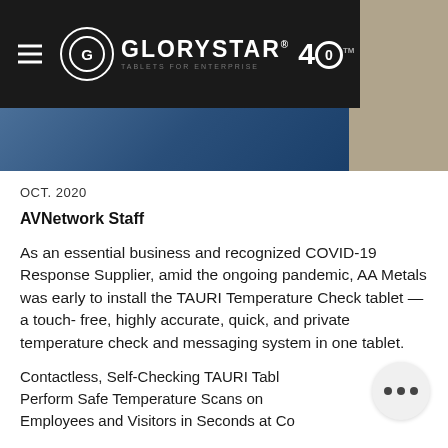GLORYSTAR® 40 TABLETS FOR ENTERPRISE
OCT. 2020
AVNetwork Staff
As an essential business and recognized COVID-19 Response Supplier, amid the ongoing pandemic, AA Metals was early to install the TAURI Temperature Check tablet — a touch- free, highly accurate, quick, and private temperature check and messaging system in one tablet.
Contactless, Self-Checking TAURI Tablets Perform Safe Temperature Scans on Employees and Visitors in Seconds at Co